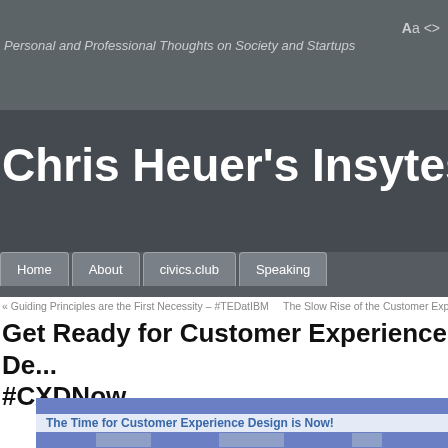Personal and Professional Thoughts on Society and Startups
Chris Heuer’s Insytes
Home
About
civics.club
Speaking
« Guiding Principles are the First Necessity – #TEDatIBM    The Slow Rise of the Customer Expe
Get Ready for Customer Experience De... #CXDNow
[Figure (screenshot): Embedded card with blue background and white panel showing the text 'The Time for Customer Experience Design is Now!' with two person photos below]